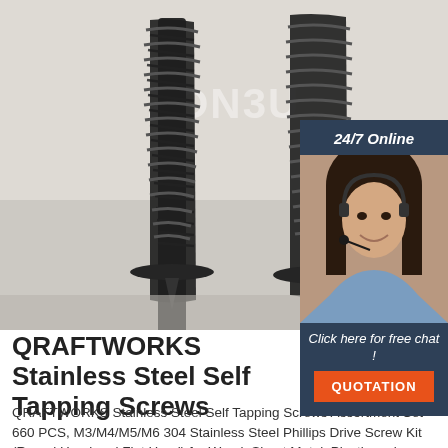[Figure (photo): Two black self-tapping screws with flat heads on a light gray background, with a watermark text 'ZON3U' partially visible]
[Figure (photo): Customer service representative sidebar: dark header '24/7 Online', photo of smiling woman with headset, dark footer with italic 'Click here for free chat!' text and orange QUOTATION button]
QRAFTWORKS Stainless Steel Self Tapping Screws
QRAFTWORKS Stainless Steel Self Tapping Screws Assortment Set 660 PCS, M3/M4/M5/M6 304 Stainless Steel Phillips Drive Screw Kit (Round Head and Flat Head) for Wood, Sheet Metal, Plastic and Fiberglass: Amazon.com: Industrial & Scientific